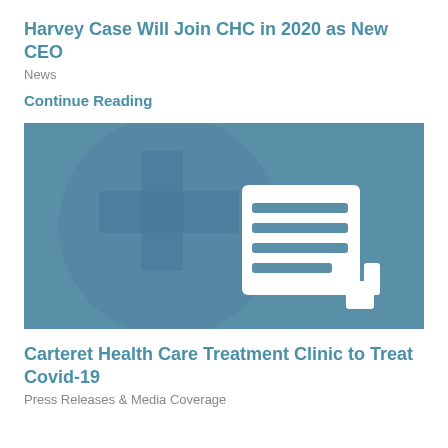Harvey Case Will Join CHC in 2020 as New CEO
News
Continue Reading
[Figure (illustration): Blue banner with a newspaper/document icon on a background with a medical cross symbol]
Carteret Health Care Treatment Clinic to Treat Covid-19
Press Releases & Media Coverage